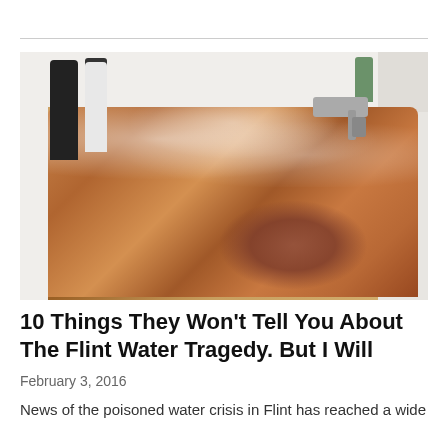[Figure (photo): Photograph of a bathtub filled with brown, discolored water from the Flint water crisis. Shampoo bottles are visible on the left side, a faucet on the right, and dark sediment visible in the water.]
10 Things They Won't Tell You About The Flint Water Tragedy. But I Will
February 3, 2016
News of the poisoned water crisis in Flint has reached a wide